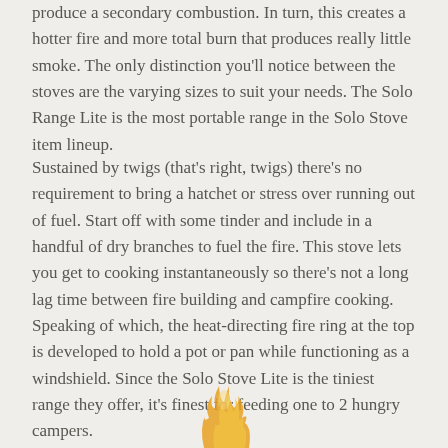produce a secondary combustion. In turn, this creates a hotter fire and more total burn that produces really little smoke. The only distinction you'll notice between the stoves are the varying sizes to suit your needs. The Solo Range Lite is the most portable range in the Solo Stove item lineup.
Sustained by twigs (that's right, twigs) there's no requirement to bring a hatchet or stress over running out of fuel. Start off with some tinder and include in a handful of dry branches to fuel the fire. This stove lets you get to cooking instantaneously so there's not a long lag time between fire building and campfire cooking. Speaking of which, the heat-directing fire ring at the top is developed to hold a pot or pan while functioning as a windshield. Since the Solo Stove Lite is the tiniest range they offer, it's finest for feeding one to 2 hungry campers.
[Figure (illustration): Flame or fire illustration at the bottom center of the page, with golden/orange flame shapes]